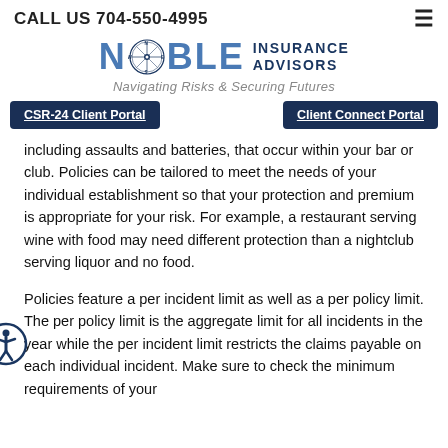CALL US 704-550-4995
[Figure (logo): Noble Insurance Advisors logo with compass rose. Text: NOBLE INSURANCE ADVISORS. Tagline: Navigating Risks & Securing Futures]
CSR-24 Client Portal | Client Connect Portal
including assaults and batteries, that occur within your bar or club. Policies can be tailored to meet the needs of your individual establishment so that your protection and premium is appropriate for your risk. For example, a restaurant serving wine with food may need different protection than a nightclub serving liquor and no food.
Policies feature a per incident limit as well as a per policy limit. The per policy limit is the aggregate limit for all incidents in the year while the per incident limit restricts the claims payable on each individual incident. Make sure to check the minimum requirements of your